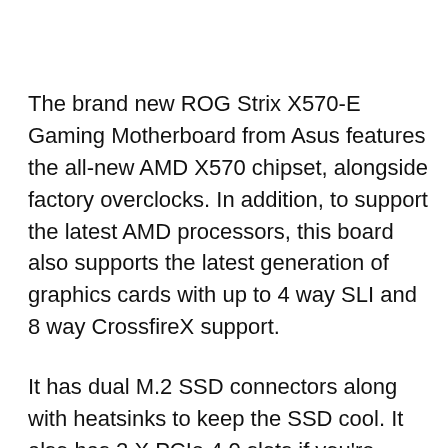The brand new ROG Strix X570-E Gaming Motherboard from Asus features the all-new AMD X570 chipset, alongside factory overclocks. In addition, to support the latest AMD processors, this board also supports the latest generation of graphics cards with up to 4 way SLI and 8 way CrossfireX support.
It has dual M.2 SSD connectors along with heatsinks to keep the SSD cool. It also has 2 X PCIe 4.0 slots if you're planning for a dual graphics card with SLI. In terms of networking, Asus ROG Strix X570-E Gaming